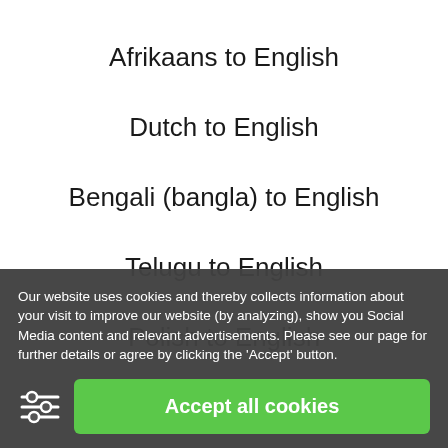Afrikaans to English
Dutch to English
Bengali (bangla) to English
Telugu to English
Polish to English
Our website uses cookies and thereby collects information about your visit to improve our website (by analyzing), show you Social Media content and relevant advertisements. Please see our page for further details or agree by clicking the 'Accept' button.
Accept all cookies